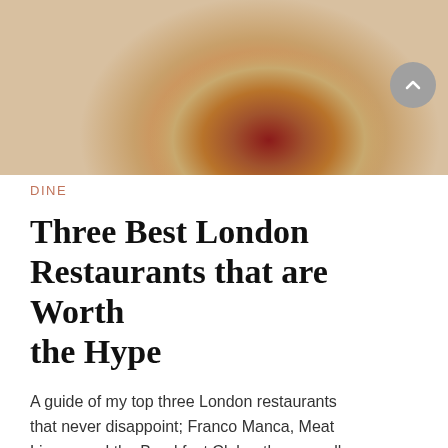[Figure (photo): Overhead photo of a Neapolitan-style pizza with tomato sauce, mozzarella, and basil leaves, with another pizza partially visible in the background on a white table]
DINE
Three Best London Restaurants that are Worth the Hype
A guide of my top three London restaurants that never disappoint; Franco Manca, Meat Liquor, and the Breakfast Club – they are all worth the hype!